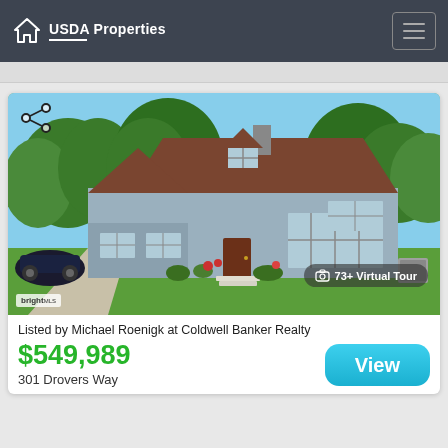USDA Properties
[Figure (photo): Exterior photo of a two-story light blue house with brown roof, green lawn, surrounded by trees. A dark car is parked in the driveway. Small garden flowers in front.]
73+ Virtual Tour
Listed by Michael Roenigk at Coldwell Banker Realty
$549,989
301 Drovers Way